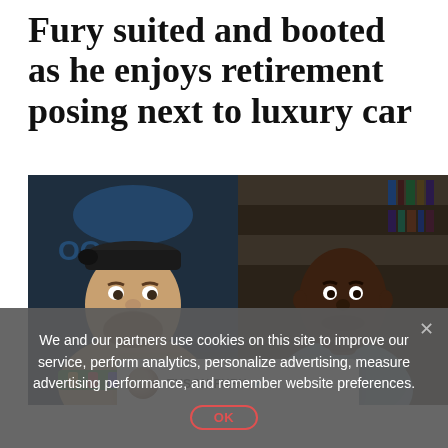Fury suited and booted as he enjoys retirement posing next to luxury car
[Figure (photo): Composite photo: left side shows Tyson Fury wearing a backwards cap and WBC championship belt, right side shows Anthony Joshua in a grey jacket against a bookshelf background. Bottom center overlay shows a tweet header with Tyson Fury avatar and name with blue verified checkmark.]
We and our partners use cookies on this site to improve our service, perform analytics, personalize advertising, measure advertising performance, and remember website preferences.
OK